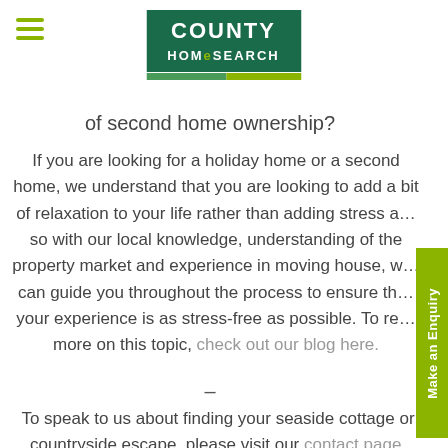[Figure (logo): County Homesearch logo — white text on dark green background with a green/yellow underline stripe]
of second home ownership?
If you are looking for a holiday home or a second home, we understand that you are looking to add a bit of relaxation to your life rather than adding stress a… so with our local knowledge, understanding of the property market and experience in moving house, w… can guide you throughout the process to ensure th… your experience is as stress-free as possible. To re… more on this topic, check out our blog here.
–
To speak to us about finding your seaside cottage or countryside escape, please visit our contact page.